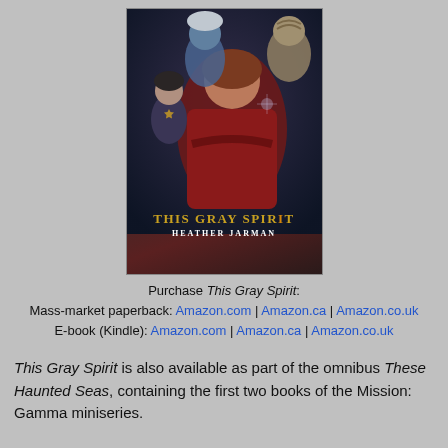[Figure (photo): Book cover of 'This Gray Spirit' by Heather Jarman. Shows characters from Star Trek Deep Space Nine including a woman in red with arms crossed in the foreground, a child in Starfleet uniform on the left, a blue alien figure behind, and an alien bust in the upper right. The title 'THIS GRAY SPIRIT' appears in gold letters and 'HEATHER JARMAN' below in white letters.]
Purchase This Gray Spirit:
Mass-market paperback: Amazon.com | Amazon.ca | Amazon.co.uk
E-book (Kindle): Amazon.com | Amazon.ca | Amazon.co.uk
This Gray Spirit is also available as part of the omnibus These Haunted Seas, containing the first two books of the Mission: Gamma miniseries.